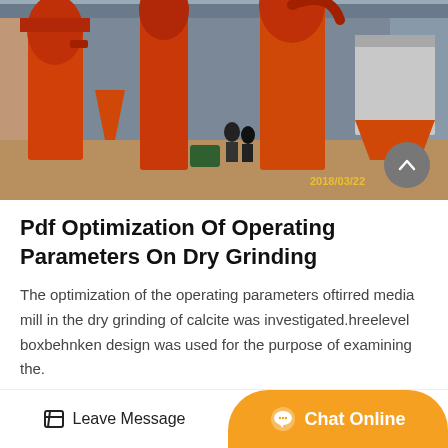[Figure (photo): Industrial grinding mill machinery with large orange cyclone separators and hoppers inside a warehouse/shed, dated 2018/03/22]
Pdf Optimization Of Operating Parameters On Dry Grinding
The optimization of the operating parameters oftirred media mill in the dry grinding of calcite was investigated.hreelevel boxbehnken design was used for the purpose of examining the.
Get Price
Leave Message
Chat Online